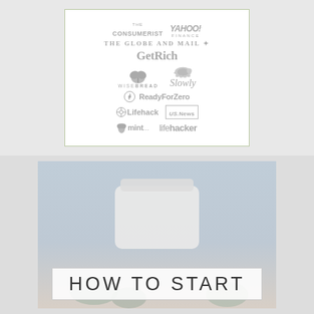[Figure (logo): Press/media logos collage in a bordered box: The Consumerist, Yahoo! Finance, The Globe and Mail, GetRich, WiseBread, Slowly (with turtle icon), ReadyForZero, Lifehack, US News, mint, lifehacker]
[Figure (photo): Photo with blue-grey background showing a white jar/container and a framed text overlay reading 'HOW TO START']